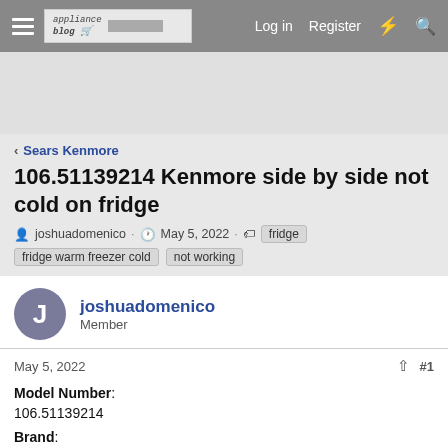Log in  Register
[Figure (screenshot): Forum navigation banner with logo placeholder]
< Sears Kenmore
106.51139214 Kenmore side by side not cold on fridge
joshuadomenico · May 5, 2022 · fridge  fridge warm freezer cold  not working
joshuadomenico
Member
May 5, 2022  #1
Model Number:
106.51139214
Brand: